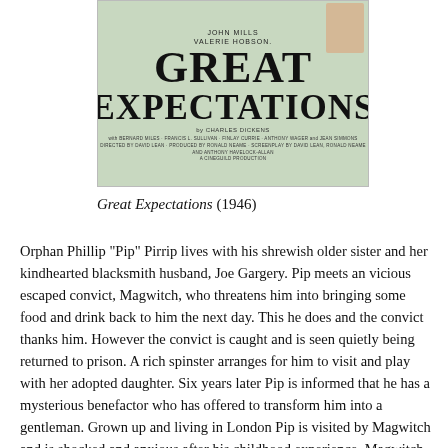[Figure (photo): Movie poster for 'Great Expectations' (1946) featuring the title in large bold serif font on a light green/grey background, with credits for John Mills and Valerie Hobson, based on Charles Dickens, and a partial face visible in the top right corner.]
Great Expectations (1946)
Orphan Phillip "Pip" Pirrip lives with his shrewish older sister and her kindhearted blacksmith husband, Joe Gargery. Pip meets an vicious escaped convict, Magwitch, who threatens him into bringing some food and drink back to him the next day. This he does and the convict thanks him. However the convict is caught and is seen quietly being returned to prison. A rich spinster arranges for him to visit and play with her adopted daughter. Six years later Pip is informed that he has a mysterious benefactor who has offered to transform him into a gentleman. Grown up and living in London Pip is visited by Magwitch and is shocked and anxious after his childhood experience. Magwitch tells Pip that he escaped from prison again and made a fortune sheep-farming in